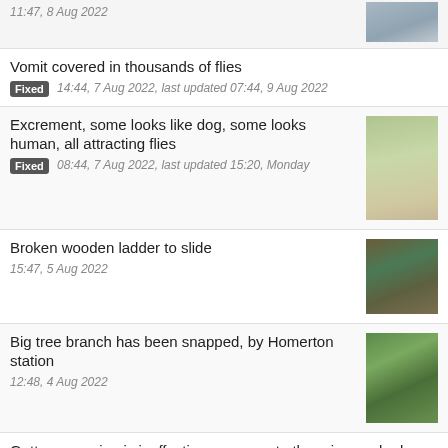11:47, 8 Aug 2022
[Figure (photo): Road or pavement photo]
Vomit covered in thousands of flies
Fixed 14:44, 7 Aug 2022, last updated 07:44, 9 Aug 2022
Excrement, some looks like dog, some looks human, all attracting flies
[Figure (photo): Pavement with plant]
Fixed 08:44, 7 Aug 2022, last updated 15:20, Monday
Broken wooden ladder to slide
[Figure (photo): Wooden ladder/slide]
15:47, 5 Aug 2022
Big tree branch has been snapped, by Homerton station
[Figure (photo): Tree with bin]
12:48, 4 Aug 2022
Gutter sweeping is ineffective response to the urine soaked pavement and walls on both side of Gould Terrace
11:15, 4 Aug 2022, last updated 15:01, 4 Aug 2022